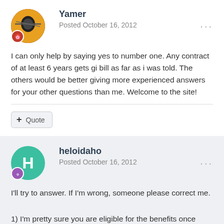Yamer
Posted October 16, 2012
I can only help by saying yes to number one. Any contract of at least 6 years gets gi bill as far as i was told. The others would be better giving more experienced answers for your other questions than me. Welcome to the site!
+ Quote
heloidaho
Posted October 16, 2012
I'll try to answer. If I'm wrong, someone please correct me.
1) I'm pretty sure you are eligible for the benefits once you've